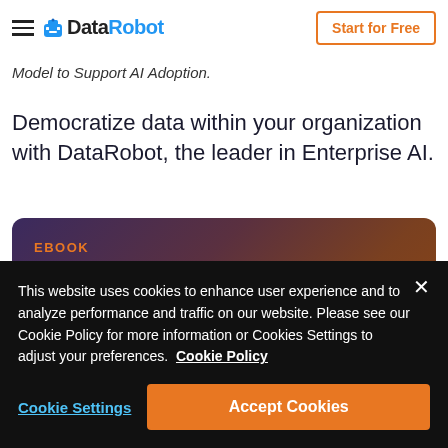DataRobot — Start for Free
Model to Support AI Adoption.
Democratize data within your organization with DataRobot, the leader in Enterprise AI.
[Figure (illustration): Ebook card with dark gradient background (purple to brown). Label: EBOOK. Title: Democratizing AI for All]
This website uses cookies to enhance user experience and to analyze performance and traffic on our website. Please see our Cookie Policy for more information or Cookies Settings to adjust your preferences. Cookie Policy
Cookie Settings   Accept Cookies